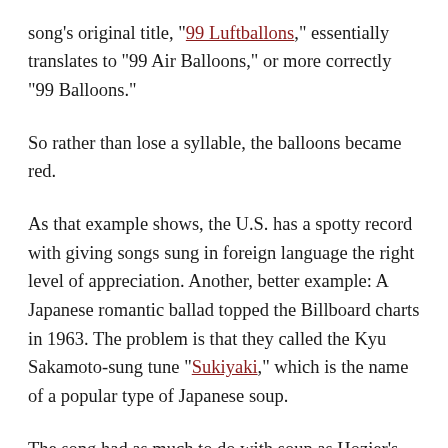song's original title, "99 Luftballons," essentially translates to "99 Air Balloons," or more correctly "99 Balloons."
So rather than lose a syllable, the balloons became red.
As that example shows, the U.S. has a spotty record with giving songs sung in foreign language the right level of appreciation. Another, better example: A Japanese romantic ballad topped the Billboard charts in 1963. The problem is that they called the Kyu Sakamoto-sung tune "Sukiyaki," which is the name of a popular type of Japanese soup.
The song had as much to do with soup as Hozier's